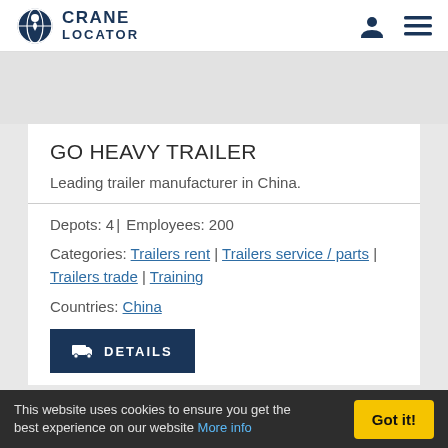CRANE LOCATOR
[Figure (screenshot): Gray banner/map area below navigation header]
GO HEAVY TRAILER
Leading trailer manufacturer in China.
Depots: 4 | Employees: 200
Categories: Trailers rent | Trailers service / parts | Trailers trade | Training
Countries: China
DETAILS
This website uses cookies to ensure you get the best experience on our website More info  Got it!